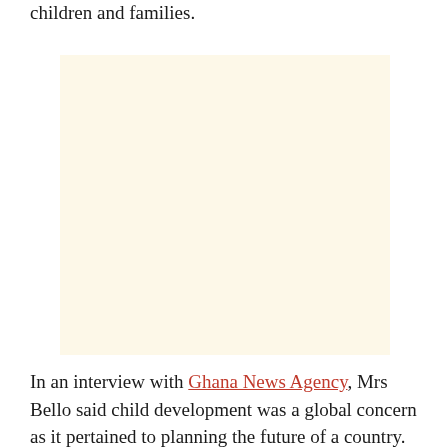children and families.
[Figure (other): Advertisement placeholder box with light beige/cream background]
In an interview with Ghana News Agency, Mrs Bello said child development was a global concern as it pertained to planning the future of a country.